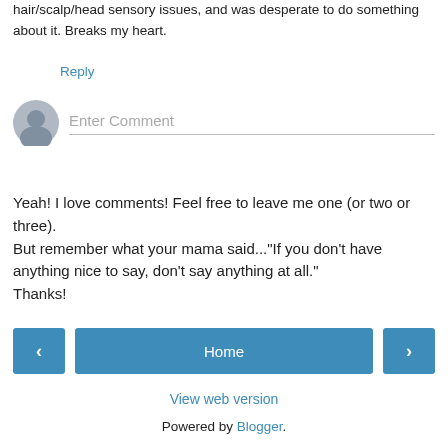hair/scalp/head sensory issues, and was desperate to do something about it. Breaks my heart.
Reply
[Figure (other): Comment input box with generic user avatar icon and placeholder text 'Enter Comment']
Yeah! I love comments! Feel free to leave me one (or two or three).
But remember what your mama said..."If you don't have anything nice to say, don't say anything at all."
Thanks!
< Home > View web version Powered by Blogger.